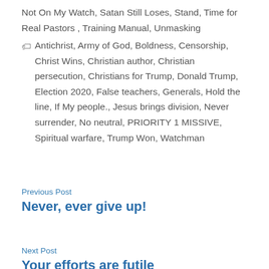Not On My Watch, Satan Still Loses, Stand, Time for Real Pastors , Training Manual, Unmasking
🏷 Antichrist, Army of God, Boldness, Censorship, Christ Wins, Christian author, Christian persecution, Christians for Trump, Donald Trump, Election 2020, False teachers, Generals, Hold the line, If My people., Jesus brings division, Never surrender, No neutral, PRIORITY 1 MISSIVE, Spiritual warfare, Trump Won, Watchman
Previous Post
Never, ever give up!
Next Post
Your efforts are futile